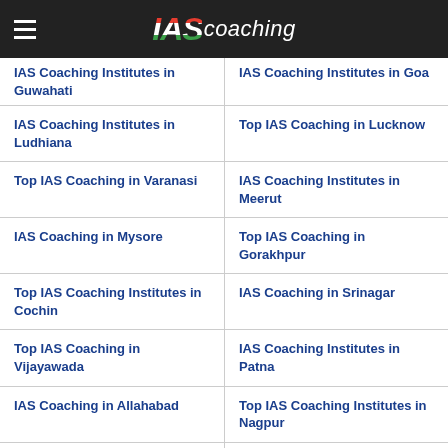IAS coaching
IAS Coaching Institutes in Guwahati
IAS Coaching Institutes in Goa
IAS Coaching Institutes in Ludhiana
Top IAS Coaching in Lucknow
Top IAS Coaching in Varanasi
IAS Coaching Institutes in Meerut
IAS Coaching in Mysore
Top IAS Coaching in Gorakhpur
Top IAS Coaching Institutes in Cochin
IAS Coaching in Srinagar
Top IAS Coaching in Vijayawada
IAS Coaching Institutes in Patna
IAS Coaching in Allahabad
Top IAS Coaching Institutes in Nagpur
IAS Coaching in Trivandrum
Top IAS Coaching Institutes in